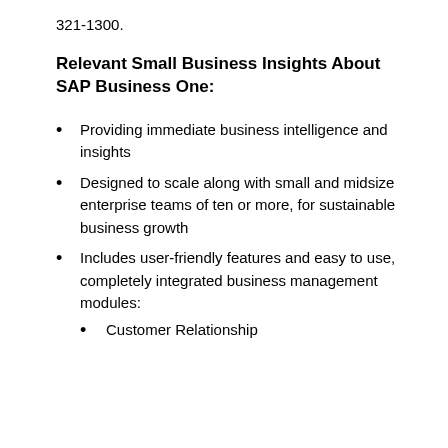321-1300.
Relevant Small Business Insights About SAP Business One:
Providing immediate business intelligence and insights
Designed to scale along with small and midsize enterprise teams of ten or more, for sustainable business growth
Includes user-friendly features and easy to use, completely integrated business management modules:
Customer Relationship